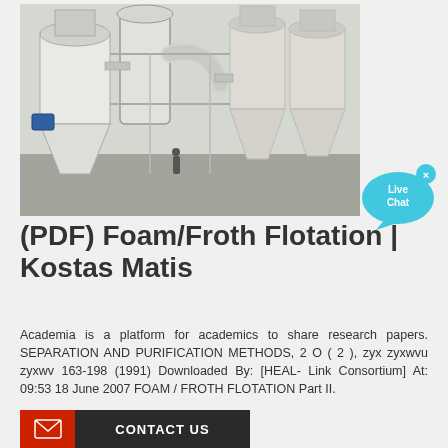[Figure (photo): Industrial flotation/separation equipment inside a warehouse — large cyclone separators and piping systems on white metal frames]
[Figure (illustration): Live Chat speech bubble icon in cyan/teal color with an 'x' close button]
(PDF) Foam/Froth Flotation | Kostas Matis
Academia is a platform for academics to share research papers. SEPARATION AND PURIFICATION METHODS, 2 O ( 2 ), zyx zyxwvu zyxwv 163-198 (1991) Downloaded By: [HEAL- Link Consortium] At: 09:53 18 June 2007 FOAM / FROTH FLOTATION Part II.
CONTACT US